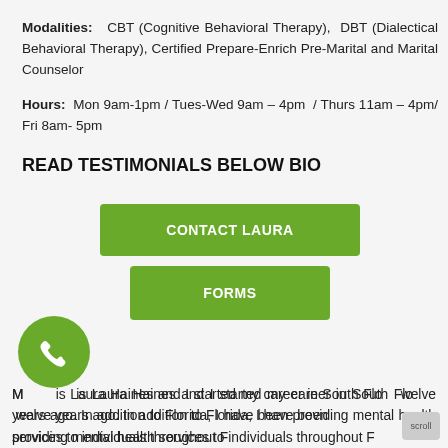Modalities: CBT (Cognitive Behavioral Therapy), DBT (Dialectical Behavioral Therapy), Certified Prepare-Enrich Pre-Marital and Marital Counselor
Hours: Mon 9am-1pm / Tues-Wed 9am – 4pm / Thurs 11am – 4pm/ Fri 8am- 5pm
READ TESTIMONIALS BELOW BIO
[Figure (other): Green button labeled CONTACT LAURA]
[Figure (other): Green button labeled FORMS]
My name is Laura Haines and I started my career in South Florida twelve years ago. In addition to Florida, I have been providing mental health services to individuals throughout F...